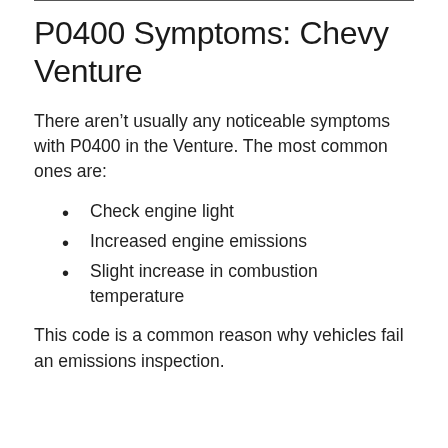P0400 Symptoms: Chevy Venture
There aren’t usually any noticeable symptoms with P0400 in the Venture. The most common ones are:
Check engine light
Increased engine emissions
Slight increase in combustion temperature
This code is a common reason why vehicles fail an emissions inspection.